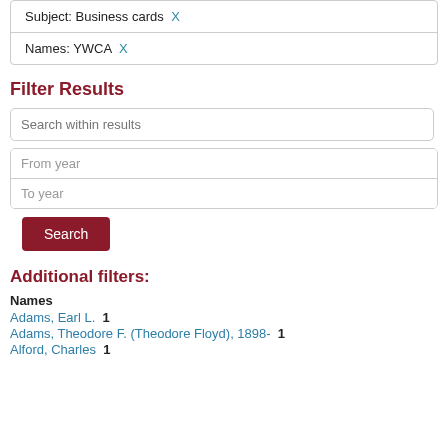Subject: Business cards X
Names: YWCA X
Filter Results
Search within results
From year
To year
Search
Additional filters:
Names
Adams, Earl L. 1
Adams, Theodore F. (Theodore Floyd), 1898- 1
Alford, Charles 1